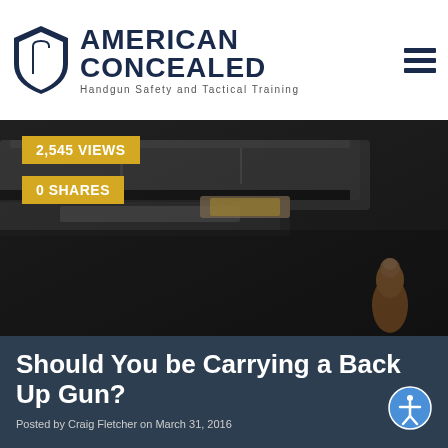AMERICAN CONCEALED — Handgun Safety and Tactical Training
[Figure (photo): Close-up blurred photo of a handgun slide/barrel with a copper-jacketed bullet in the foreground on a dark background]
2,545 VIEWS
0 SHARES
Should You be Carrying a Back Up Gun?
Posted by Craig Fletcher on March 31, 2016